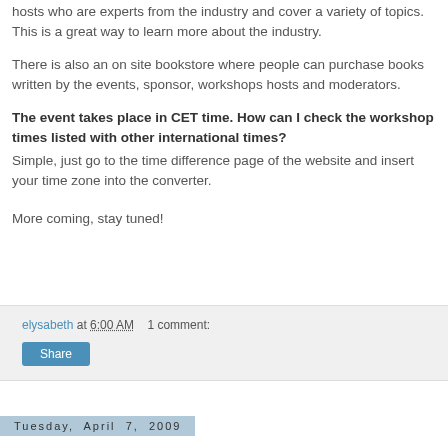hosts who are experts from the industry and cover a variety of topics. This is a great way to learn more about the industry.
There is also an on site bookstore where people can purchase books written by the events, sponsor, workshops hosts and moderators.
The event takes place in CET time. How can I check the workshop times listed with other international times?
Simple, just go to the time difference page of the website and insert your time zone into the converter.
More coming, stay tuned!
elysabeth at 6:00 AM   1 comment:
Share
Tuesday, April 7, 2009